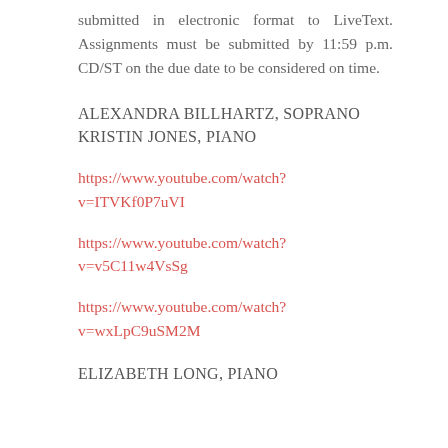submitted in electronic format to LiveText. Assignments must be submitted by 11:59 p.m. CD/ST on the due date to be considered on time.
ALEXANDRA BILLHARTZ, SOPRANO KRISTIN JONES, PIANO
https://www.youtube.com/watch?v=ITVKf0P7uVI
https://www.youtube.com/watch?v=v5C11w4VsSg
https://www.youtube.com/watch?v=wxLpC9uSM2M
ELIZABETH LONG, PIANO